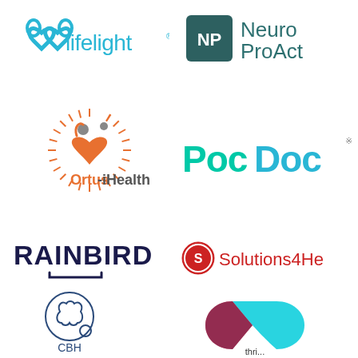[Figure (logo): Lifelight logo - two overlapping heart/loop shapes in cyan blue with 'lifelight' text and registered trademark symbol]
[Figure (logo): NeuroProAct logo - dark teal square with NP letters and 'Neuro ProAct' text (partially cropped)]
[Figure (logo): Ortus-iHealth logo - circular orange/gray emblem with human figures and radiating lines, orange and gray text]
[Figure (logo): PocDoc logo - teal and blue text 'PocDoc' with registered trademark symbol (partially cropped)]
[Figure (logo): RAINBIRD logo - dark navy bold uppercase text with bracket/underline shape beneath]
[Figure (logo): Solutions4Health logo - red circular icon with S and 'Solutions4H' text (partially cropped)]
[Figure (logo): CBH or similar brain logo - circular icon with brain illustration and small bubble, text partially visible below]
[Figure (logo): Thrive or similar health logo - pink and cyan overlapping capsule/pill shape forming a heart]